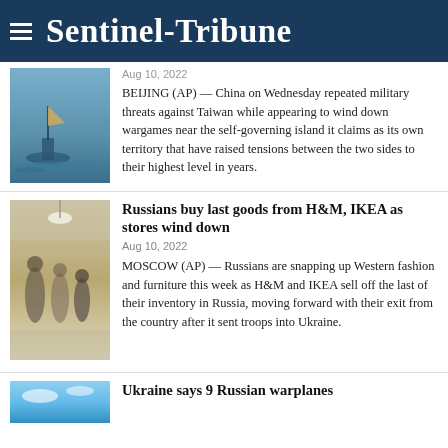Sentinel-Tribune
BEIJING (AP) — China on Wednesday repeated military threats against Taiwan while appearing to wind down wargames near the self-governing island it claims as its own territory that have raised tensions between the two sides to their highest level in years.
Russians buy last goods from H&M, IKEA as stores wind down
Aug 10, 2022
MOSCOW (AP) — Russians are snapping up Western fashion and furniture this week as H&M and IKEA sell off the last of their inventory in Russia, moving forward with their exit from the country after it sent troops into Ukraine.
Ukraine says 9 Russian warplanes